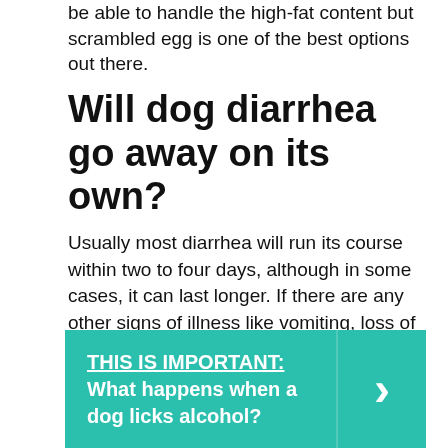be able to handle the high-fat content but scrambled egg is one of the best options out there.
Will dog diarrhea go away on its own?
Usually most diarrhea will run its course within two to four days, although in some cases, it can last longer. If there are any other signs of illness like vomiting, loss of appetite, depression, or pain, a veterinary trip is in order.
THIS IS IMPORTANT:  What happens when a dog licks alcohol?